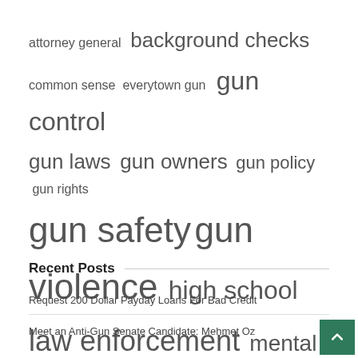[Figure (infographic): Tag cloud of gun-policy related terms in varying font sizes indicating frequency/importance. Terms include: attorney general, background checks, common sense, everytown gun, gun control, gun laws, gun owners, gun policy, gun rights, gun safety, gun violence, high school, law enforcement, mental health, public safety, united states, violence prevention.]
Recent Posts
Request 200 Dollar Payday Loans For Bad Credit
Meet an Anti-Gun Senate Candidate: Mehmet Oz